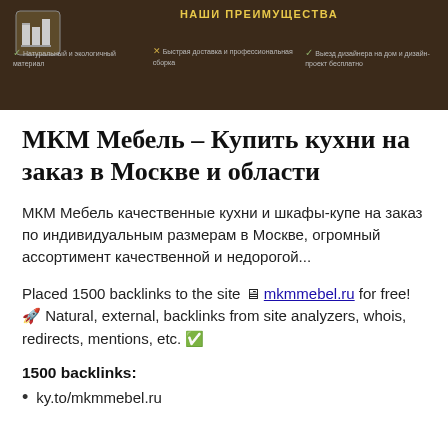[Figure (screenshot): Dark brown banner showing МКМ Мебель logo and 'НАШИ ПРЕИМУЩЕСТВА' section with three feature columns: natural/eco materials, fast delivery and professional assembly, designer home visit for free.]
МКМ Мебель – Купить кухни на заказ в Москве и области
МКМ Мебель качественные кухни и шкафы-купе на заказ по индивидуальным размерам в Москве, огромный ассортимент качественной и недорогой...
Placed 1500 backlinks to the site 🖥 mkmmebel.ru for free! 🚀 Natural, external, backlinks from site analyzers, whois, redirects, mentions, etc. ✅
1500 backlinks:
ky.to/mkmmebel.ru